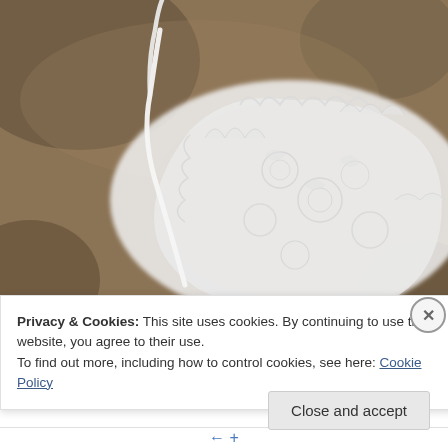[Figure (photo): Close-up photograph of white lace lingerie/bra laid flat on a brown textured carpet or fabric background. The lace has delicate floral patterns and a thin white strap is visible.]
Privacy & Cookies: This site uses cookies. By continuing to use this website, you agree to their use.
To find out more, including how to control cookies, see here: Cookie Policy
Close and accept